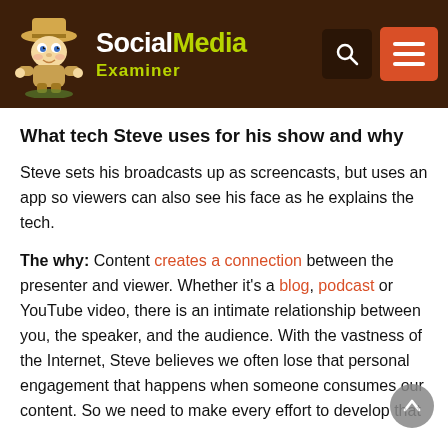Social Media Examiner
What tech Steve uses for his show and why
Steve sets his broadcasts up as screencasts, but uses an app so viewers can also see his face as he explains the tech.
The why: Content creates a connection between the presenter and viewer. Whether it’s a blog, podcast or YouTube video, there is an intimate relationship between you, the speaker, and the audience. With the vastness of the Internet, Steve believes we often lose that personal engagement that happens when someone consumes our content. So we need to make every effort to develop that